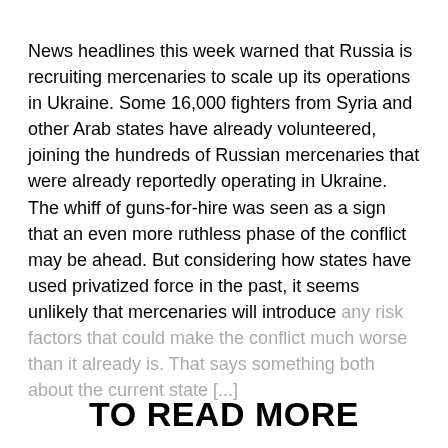News headlines this week warned that Russia is recruiting mercenaries to scale up its operations in Ukraine. Some 16,000 fighters from Syria and other Arab states have already volunteered, joining the hundreds of Russian mercenaries that were already reportedly operating in Ukraine. The whiff of guns-for-hire was seen as a sign that an even more ruthless phase of the conflict may be ahead. But considering how states have used privatized force in the past, it seems unlikely that mercenaries will introduce any risk factors that could make the conflict much worse than it already is. That says something both about the current state [...]
TO READ MORE